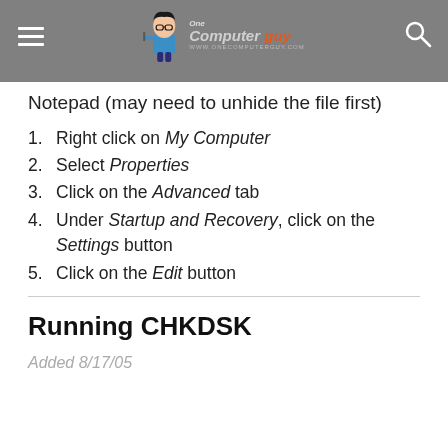One Computer Guy — www.onecomputerguy.com
Notepad (may need to unhide the file first)
Right click on My Computer
Select Properties
Click on the Advanced tab
Under Startup and Recovery, click on the Settings button
Click on the Edit button
Running CHKDSK
Added 8/17/05